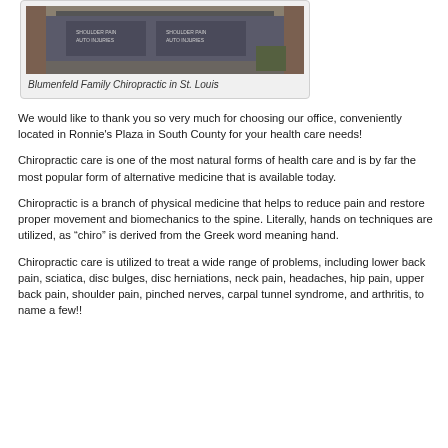[Figure (photo): Exterior photo of Blumenfeld Family Chiropractic office building in St. Louis, showing signage on windows]
Blumenfeld Family Chiropractic in St. Louis
We would like to thank you so very much for choosing our office, conveniently located in Ronnie's Plaza in South County for your health care needs!
Chiropractic care is one of the most natural forms of health care and is by far the most popular form of alternative medicine that is available today.
Chiropractic is a branch of physical medicine that helps to reduce pain and restore proper movement and biomechanics to the spine. Literally, hands on techniques are utilized, as “chiro” is derived from the Greek word meaning hand.
Chiropractic care is utilized to treat a wide range of problems, including lower back pain, sciatica, disc bulges, disc herniations, neck pain, headaches, hip pain, upper back pain, shoulder pain, pinched nerves, carpal tunnel syndrome, and arthritis, to name a few!!